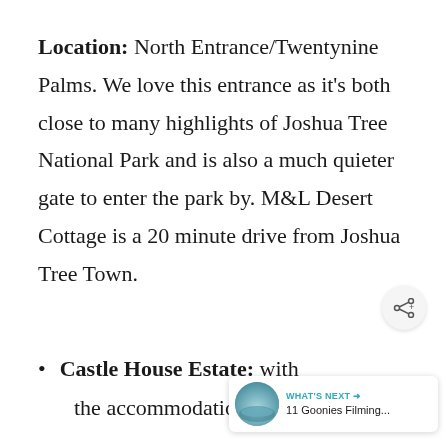Location: North Entrance/Twentynine Palms. We love this entrance as it's both close to many highlights of Joshua Tree National Park and is also a much quieter gate to enter the park by. M&L Desert Cottage is a 20 minute drive from Joshua Tree Town.
Castle House Estate: with the accommodation options including...